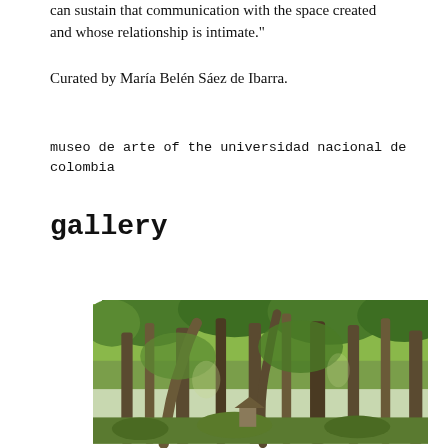can sustain that communication with the space created and whose relationship is intimate."
Curated by María Belén Sáez de Ibarra.
museo de arte of the universidad nacional de colombia
gallery
[Figure (photo): Outdoor scene with tall trees in a dense wooded area, lush green foliage, and a small structure visible among the trees]